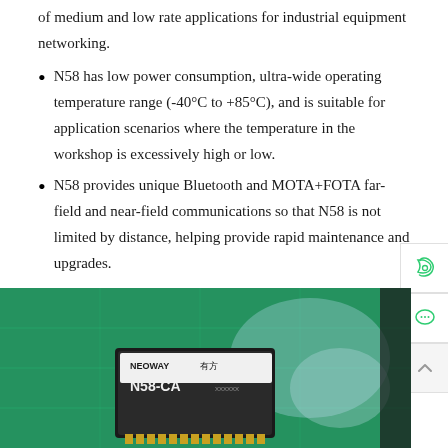of medium and low rate applications for industrial equipment networking.
N58 has low power consumption, ultra-wide operating temperature range (-40°C to +85°C), and is suitable for application scenarios where the temperature in the workshop is excessively high or low.
N58 provides unique Bluetooth and MOTA+FOTA far-field and near-field communications so that N58 is not limited by distance, helping provide rapid maintenance and upgrades.
[Figure (photo): Photo of a Neoway 有方 N58-CA circuit board module with green PCB background showing industrial electronics components]